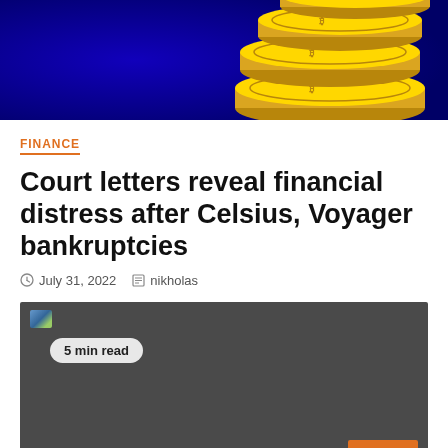[Figure (photo): Hero image showing stacked gold coins (bitcoin/crypto coins) on a blue/purple background]
FINANCE
Court letters reveal financial distress after Celsius, Voyager bankruptcies
July 31, 2022   nikholas
[Figure (photo): Dark gray placeholder image with a small thumbnail icon and '5 min read' badge, and an orange scroll-to-top button in the bottom right]